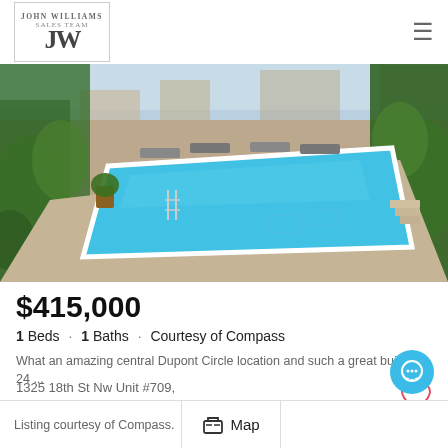JW John Williams Sales Team
[Figure (photo): Rooftop swimming pool with lounge chairs and greenery on surrounding terrace, sunny day]
$415,000
1 Beds · 1 Baths · Courtesy of Compass
What an amazing central Dupont Circle location and such a great building - 24 ...
1325 18th St Nw Unit #709, Washington
Listing courtesy of Compass.   Map